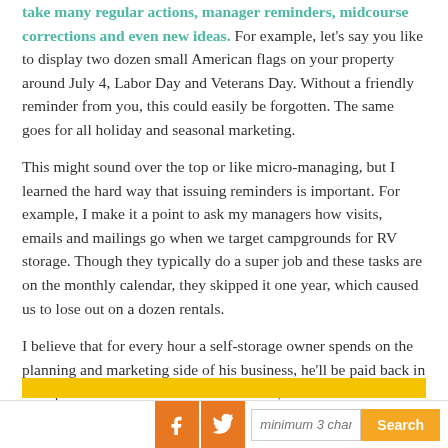take many regular actions, manager reminders, midcourse corrections and even new ideas. For example, let's say you like to display two dozen small American flags on your property around July 4, Labor Day and Veterans Day. Without a friendly reminder from you, this could easily be forgotten. The same goes for all holiday and seasonal marketing.
This might sound over the top or like micro-managing, but I learned the hard way that issuing reminders is important. For example, I make it a point to ask my managers how visits, emails and mailings go when we target campgrounds for RV storage. Though they typically do a super job and these tasks are on the monthly calendar, they skipped it one year, which caused us to lose out on a dozen rentals.
I believe that for every hour a self-storage owner spends on the planning and marketing side of his business, he'll be paid back in multiple thousands of dollars. Remember, the average unit renting worth more than a $1,000 a unit...
minimum 3 char  Search